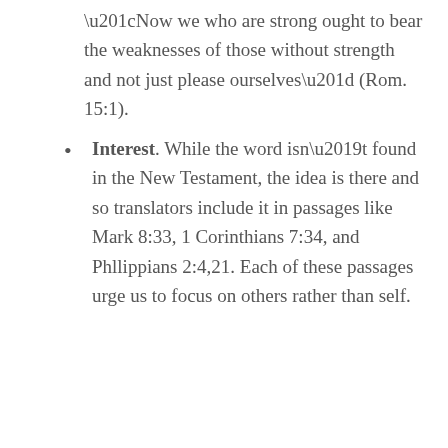“Now we who are strong ought to bear the weaknesses of those without strength and not just please ourselves” (Rom. 15:1).
Interest. While the word isn’t found in the New Testament, the idea is there and so translators include it in passages like Mark 8:33, 1 Corinthians 7:34, and Phllippians 2:4,21. Each of these passages urge us to focus on others rather than self.